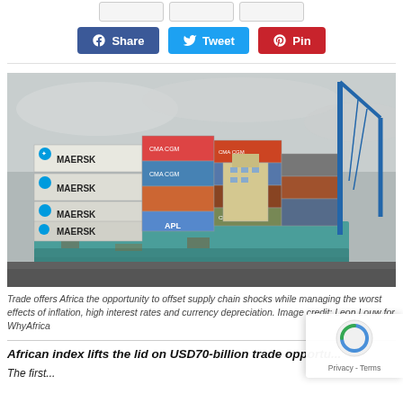[Figure (other): Three partially visible grey ghost/placeholder social share buttons at top of page, cut off]
[Figure (other): Social share buttons row: Facebook Share (blue), Twitter Tweet (blue), Pinterest Pin (red)]
[Figure (photo): A large container ship loaded with Maersk, APL, CMA CGM and other colored shipping containers at a port dock, with a blue crane visible on the right side. Overcast sky. The ship hull is teal/turquoise colored.]
Trade offers Africa the opportunity to offset supply chain shocks while managing the worst effects of inflation, high interest rates and currency depreciation. Image credit: Leon Louw for WhyAfrica
African index lifts the lid on USD70-billion trade opportu...
The first...